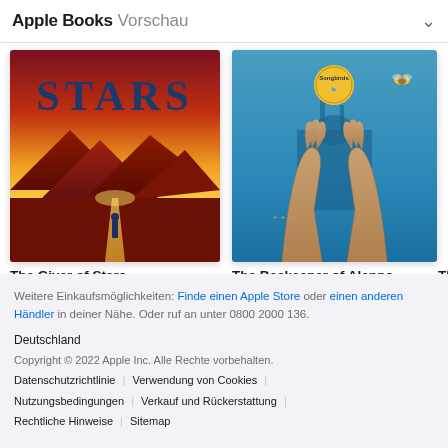Apple Books Vorschau
[Figure (photo): Book cover for The Giver of Stars (2019) showing red/orange landscape with mountains and the word STARS in large blue letters]
The Giver of Stars
2019
[Figure (photo): Book cover for The Beekeeper of Aleppo (2019) showing two raised hands against a blue background with a mosque, bees and a circular Songbirds emblem]
The Beekeeper of Aleppo
2019
Th
201
Weitere Einkaufsmöglichkeiten: Finde einen Apple Store oder einen anderen Händler in deiner Nähe. Oder ruf an unter 0800 2000 136.
Deutschland
Copyright © 2022 Apple Inc. Alle Rechte vorbehalten.
Datenschutzrichtlinie | Verwendung von Cookies | Nutzungsbedingungen | Verkauf und Rückerstattung | Rechtliche Hinweise | Sitemap